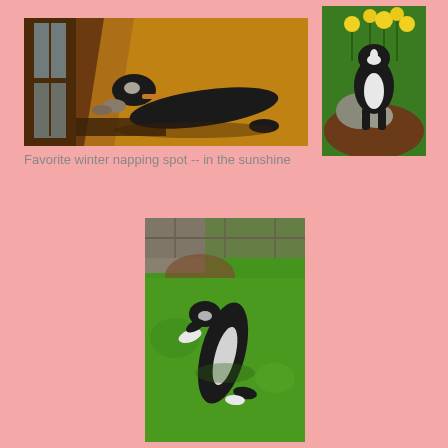[Figure (photo): Black and white dog lying stretched out on a hardwood floor in a sunbeam by a window — indoor winter napping spot]
[Figure (photo): Black and white dog standing or sniffing near rocks and yellow flowers in a garden]
Favorite winter napping spot -- in the sunshine
[Figure (photo): Black and white dog lying flat on green grass in a yard, summer sunshine]